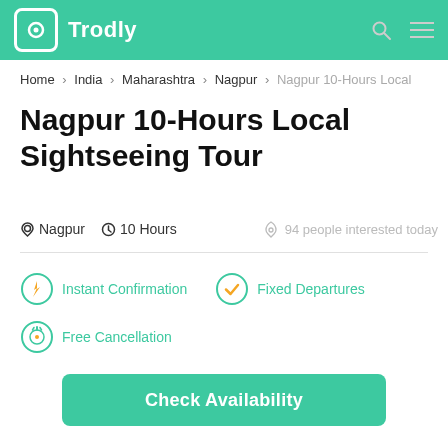Trodly
Home > India > Maharashtra > Nagpur > Nagpur 10-Hours Local
Nagpur 10-Hours Local Sightseeing Tour
Nagpur  10 Hours  94 people interested today
Instant Confirmation
Fixed Departures
Free Cancellation
Check Availability